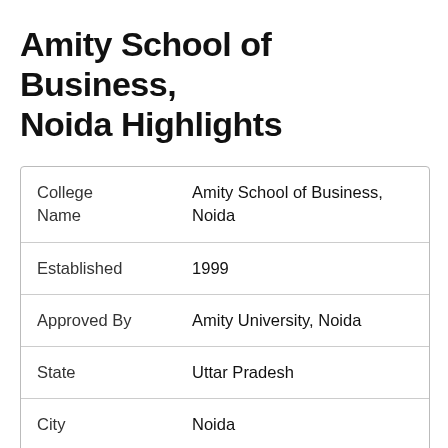Amity School of Business, Noida Highlights
| College Name | Amity School of Business, Noida |
| Established | 1999 |
| Approved By | Amity University, Noida |
| State | Uttar Pradesh |
| City | Noida |
| College Type | Private |